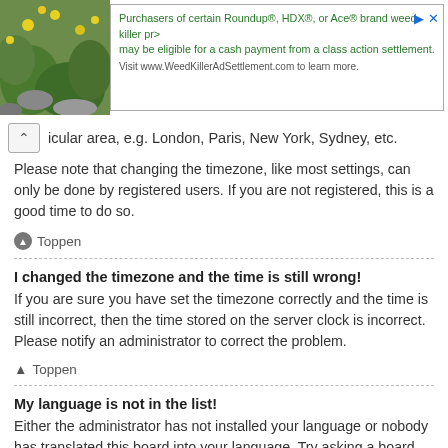[Figure (screenshot): Advertisement banner for WeedKillerAdSettlement.com featuring a plant/flower photo on the left and text about Roundup, HDX, or Ace brand weed killer class action settlement on the right]
icular area, e.g. London, Paris, New York, Sydney, etc. Please note that changing the timezone, like most settings, can only be done by registered users. If you are not registered, this is a good time to do so.
Toppen
I changed the timezone and the time is still wrong!
If you are sure you have set the timezone correctly and the time is still incorrect, then the time stored on the server clock is incorrect. Please notify an administrator to correct the problem.
Toppen
My language is not in the list!
Either the administrator has not installed your language or nobody has translated this board into your language. Try asking a board administrator if they can install the language